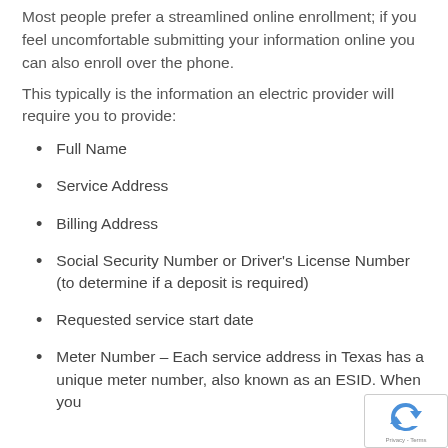Most people prefer a streamlined online enrollment; if you feel uncomfortable submitting your information online you can also enroll over the phone.
This typically is the information an electric provider will require you to provide:
Full Name
Service Address
Billing Address
Social Security Number or Driver's License Number (to determine if a deposit is required)
Requested service start date
Meter Number – Each service address in Texas has a unique meter number, also known as an ESID. When you